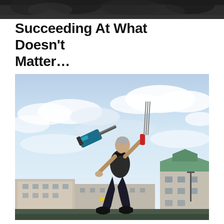[Figure (photo): Narrow dark banner image at the top of the page, showing a dark textured background strip]
Succeeding At What Doesn't Matter…
[Figure (photo): A tattooed male street performer juggling a chainsaw and swords outdoors against a dramatic cloudy sky, with European-style buildings in the background. The man is shirtless with a black vest, wearing dark pants and boots, balancing on one leg.]